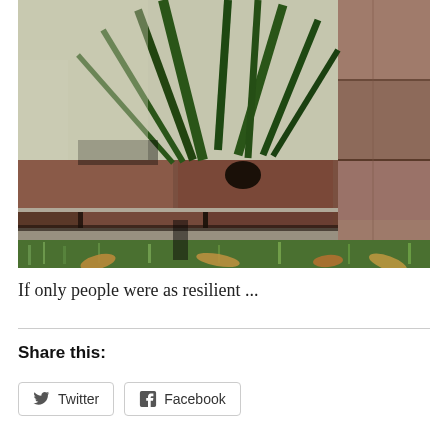[Figure (photo): Close-up photograph of dark reddish-brown brick wall with green plant shoots/grass growing up between and above the bricks, sunlit background wall visible, grass and fallen leaves at base]
If only people were as resilient ...
Share this:
Twitter
Facebook